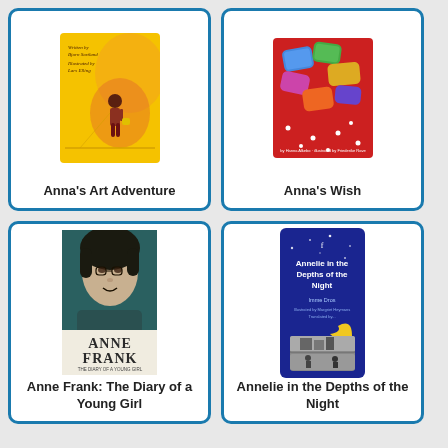[Figure (illustration): Book cover for Anna's Art Adventure with yellow background and child figure with bucket]
Anna's Art Adventure
[Figure (illustration): Book cover for Anna's Wish with red background and colorful pillows]
Anna's Wish
[Figure (illustration): Book cover for Anne Frank: The Diary of a Young Girl showing portrait photo of Anne Frank]
Anne Frank: The Diary of a Young Girl
[Figure (illustration): Book cover for Annelie in the Depths of the Night with dark blue background, crescent moon, and black and white scene images]
Annelie in the Depths of the Night